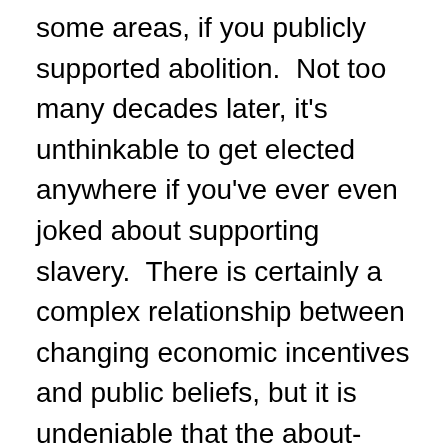some areas, if you publicly supported abolition.  Not too many decades later, it's unthinkable to get elected anywhere if you've ever even joked about supporting slavery.  There is certainly a complex relationship between changing economic incentives and public beliefs, but it is undeniable that the about-face on the ethics of slavery was more than a mere shift in power among competing interests.  What most of the public found tolerable they now find reprehensible.
Our institutions are formed by incentives, and incentives are constrained by beliefs.  That